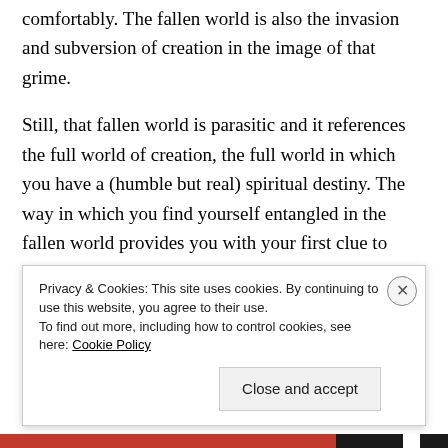comfortably. The fallen world is also the invasion and subversion of creation in the image of that grime.
Still, that fallen world is parasitic and it references the full world of creation, the full world in which you have a (humble but real) spiritual destiny. The way in which you find yourself entangled in the fallen world provides you with your first clue to your place in creation. The way in which the parasites present themselves to you are also an indication as to the nature of the higher powers toward which you should reach out your hand
Privacy & Cookies: This site uses cookies. By continuing to use this website, you agree to their use.
To find out more, including how to control cookies, see here: Cookie Policy
Close and accept